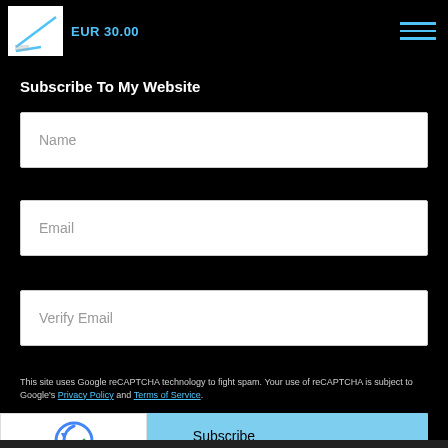EUR 30.00
Subscribe To My Website
Name
Email
Verify Email
This site uses Google reCAPTCHA technology to fight spam. Your use of reCAPTCHA is subject to Google's Privacy Policy and Terms of Service.
Subscribe